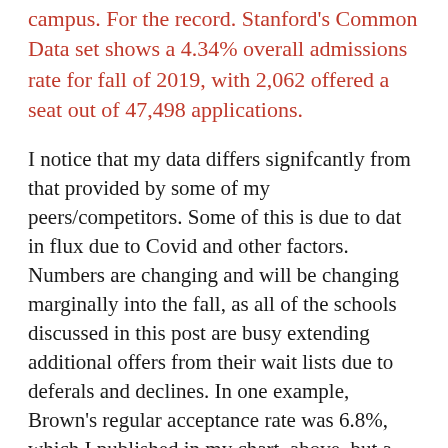campus. For the record. Stanford's Common Data set shows a 4.34% overall admissions rate for fall of 2019, with 2,062 offered a seat out of 47,498 applications.
I notice that my data differs signifcantly from that provided by some of my peers/competitors. Some of this is due to dat in flux due to Covid and other factors. Numbers are changing and will be changing marginally into the fall, as all of the schools discussed in this post are busy extending additional offers from their wait lists due to deferals and declines. In one example, Brown's regular acceptance rate was 6.8%, which I published in my chart, above, but a new number out as of June states at 6.9%. This is marginal, but that tenth of a percent means a big life change for some students who